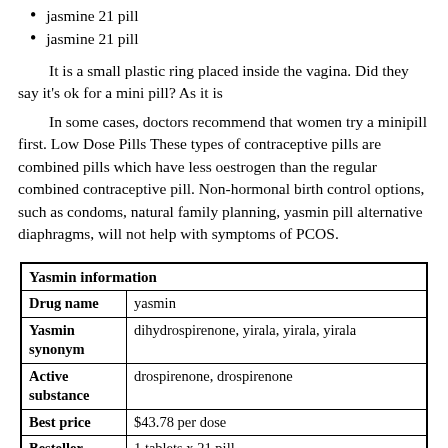jasmine 21 pill
jasmine 21 pill
It is a small plastic ring placed inside the vagina. Did they say it's ok for a mini pill? As it is
In some cases, doctors recommend that women try a minipill first. Low Dose Pills These types of contraceptive pills are combined pills which have less oestrogen than the regular combined contraceptive pill. Non-hormonal birth control options, such as condoms, natural family planning, yasmin pill alternative diaphragms, will not help with symptoms of PCOS.
|  |  |
| --- | --- |
| Yasmin information |  |
| Drug name | yasmin |
| Yasmin synonym | dihydrospirenone, yirala, yirala, yirala |
| Active substance | drospirenone, drospirenone |
| Best price | $43.78 per dose |
| Besteller | 1 tablets x 21 pill |
| Payment options | Visa, MasterCard, PayPal, ACH, American Express, eCheck |
| Delivery options | AirMail, EMS, Trackable Courier Service |